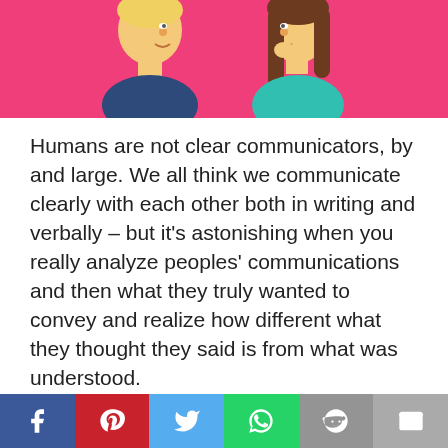[Figure (illustration): Two illustrated cartoon faces facing each other on a pink/magenta background — a blonde person on the left and a brunette person on the right, appearing to be in conversation.]
Humans are not clear communicators, by and large. We all think we communicate clearly with each other both in writing and verbally – but it's astonishing when you really analyze peoples' communications and then what they truly wanted to convey and realize how different what they thought they said is from what was understood.
My best friend is actually a Master Communicator (MC), which often drives me
[Figure (infographic): Social sharing bar with icons for Facebook, Pinterest, Twitter, WhatsApp, Reddit, and Email]